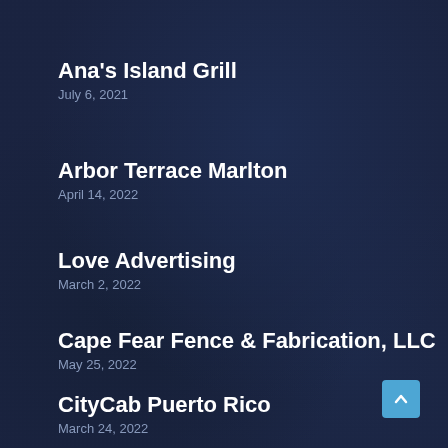Ana's Island Grill
July 6, 2021
Arbor Terrace Marlton
April 14, 2022
Love Advertising
March 2, 2022
Cape Fear Fence & Fabrication, LLC
May 25, 2022
CityCab Puerto Rico
March 24, 2022